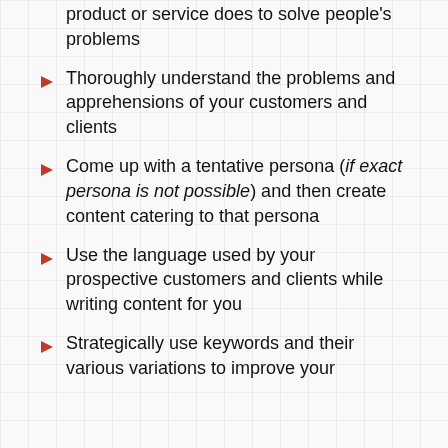product or service does to solve people’s problems
Thoroughly understand the problems and apprehensions of your customers and clients
Come up with a tentative persona (if exact persona is not possible) and then create content catering to that persona
Use the language used by your prospective customers and clients while writing content for you
Strategically use keywords and their various variations to improve your